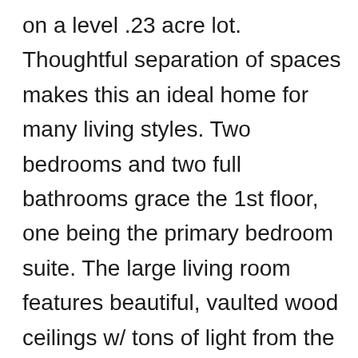on a level .23 acre lot. Thoughtful separation of spaces makes this an ideal home for many living styles. Two bedrooms and two full bathrooms grace the 1st floor, one being the primary bedroom suite. The large living room features beautiful, vaulted wood ceilings w/ tons of light from the many windows and sits adjacent to the formal dining room. Original hardwood floors throughout the downstairs and recently uncovered. Also located on the main floor is the eat-in kitchen w/pantry and family room w/fireplace. The additional 3 bedrooms are located on the 2nd floor complete with the 3rd full bathroom. New carpeting has just been installed on stairs, upstairs bedrooms and family room. Xtra large garage with